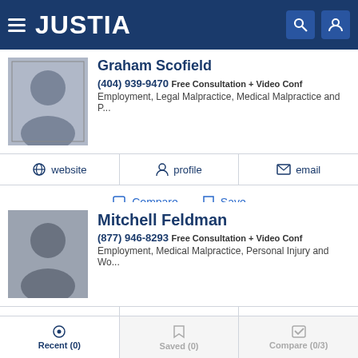[Figure (screenshot): Justia website header with hamburger menu, JUSTIA logo, search icon, and user icon on dark blue background]
Graham Scofield
(404) 939-9470 Free Consultation + Video Conf
Employment, Legal Malpractice, Medical Malpractice and P...
website | profile | email
Compare | Save
Mitchell Feldman
(877) 946-8293 Free Consultation + Video Conf
Employment, Medical Malpractice, Personal Injury and Wo...
website | profile | email
Compare | Save
Recent (0) | Saved (0) | Compare (0/3)